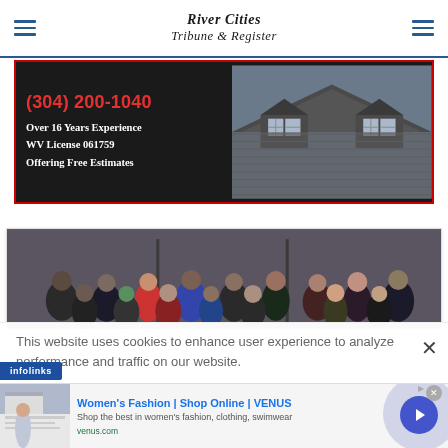River Cities Tribune & Register
[Figure (photo): Advertisement banner for a roofing company showing phone number (304) 200-1040, Over 16 Years Experience, WV License 061759, Offering Free Estimates, with a photo of a metal roof with dormers]
[Figure (photo): Group photo of approximately 15-16 people standing in front of a building entrance]
This website uses cookies to enhance user experience to analyze performance and traffic on our website.
[Figure (screenshot): infolinks advertisement badge]
[Figure (screenshot): Venus women's fashion advertisement - Women's Fashion | Shop Online | VENUS - Shop the best in women's fashion, clothing, swimwear - venus.com]